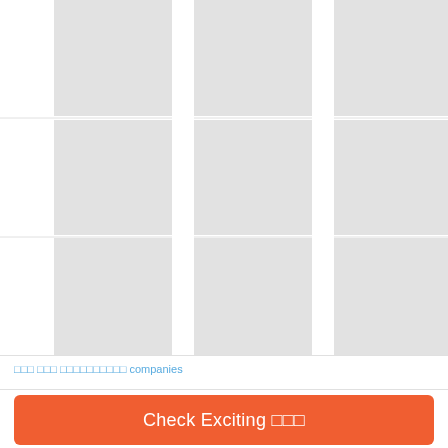[Figure (other): A vertical bar chart or grid display showing 5 gray columns with white gaps, arranged in 3 visible row sections separated by horizontal light gray lines. The bars appear as tall gray rectangles on a white background, resembling a bar chart skeleton or data grid layout.]
□□□ □□□ □□□□□□□□□□ companies
[Figure (other): An orange rounded-rectangle button with white text reading 'Check Exciting □□□']